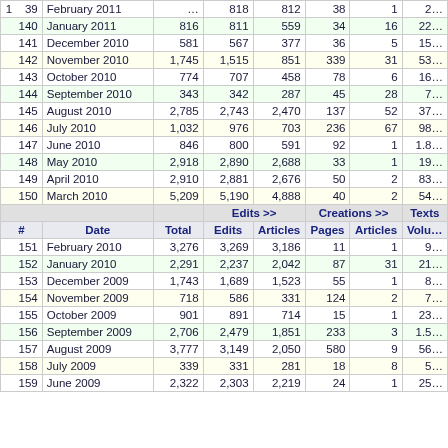| # | Date | Total | Edits | Articles | Pages | Articles | Volu... |
| --- | --- | --- | --- | --- | --- | --- | --- |
| 139 | February 2011 | … | 818 | 812 | 38 | 1 | 2… |
| 140 | January 2011 | 816 | 811 | 559 | 34 | 16 | 22… |
| 141 | December 2010 | 581 | 567 | 377 | 36 | 5 | 15… |
| 142 | November 2010 | 1,745 | 1,515 | 851 | 339 | 31 | 53… |
| 143 | October 2010 | 774 | 707 | 458 | 78 | 6 | 16… |
| 144 | September 2010 | 343 | 342 | 287 | 45 | 28 | 7… |
| 145 | August 2010 | 2,785 | 2,743 | 2,470 | 137 | 52 | 37… |
| 146 | July 2010 | 1,032 | 976 | 703 | 236 | 67 | 98… |
| 147 | June 2010 | 846 | 800 | 591 | 92 | 1 | 1.8… |
| 148 | May 2010 | 2,918 | 2,890 | 2,688 | 33 | 1 | 19… |
| 149 | April 2010 | 2,910 | 2,881 | 2,676 | 50 | 2 | 83… |
| 150 | March 2010 | 5,209 | 5,190 | 4,888 | 40 | 2 | 54… |
| # | Date | Total | Edits | Articles | Pages | Articles | Volu... |
| 151 | February 2010 | 3,276 | 3,269 | 3,186 | 11 | 1 | 9… |
| 152 | January 2010 | 2,291 | 2,237 | 2,042 | 87 | 31 | 21… |
| 153 | December 2009 | 1,743 | 1,689 | 1,523 | 55 | 1 | 8… |
| 154 | November 2009 | 718 | 586 | 331 | 124 | 2 | 7… |
| 155 | October 2009 | 901 | 891 | 714 | 15 | 1 | 23… |
| 156 | September 2009 | 2,706 | 2,479 | 1,851 | 233 | 3 | 1.5… |
| 157 | August 2009 | 3,777 | 3,149 | 2,050 | 580 | 9 | 56… |
| 158 | July 2009 | 339 | 331 | 281 | 18 | 8 | 5… |
| 159 | June 2009 | 2,322 | 2,303 | 2,219 | 24 | 1 | 25… |